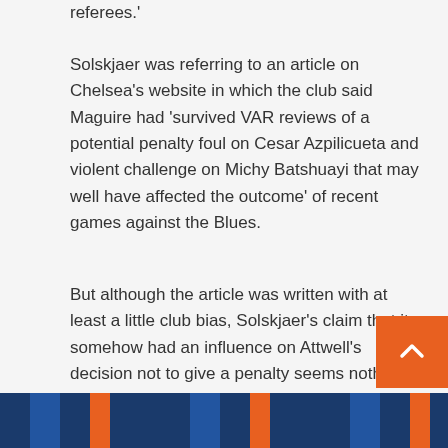referees.'
Solskjaer was referring to an article on Chelsea's website in which the club said Maguire had 'survived VAR reviews of a potential penalty foul on Cesar Azpilicueta and violent challenge on Michy Batshuayi that may well have affected the outcome' of recent games against the Blues.
But although the article was written with at least a little club bias, Solskjaer's claim that it somehow had an influence on Attwell's decision not to give a penalty seems nothing short of outrageous.
Here, Sportsmail takes a closer look at some of the other complaints the Manchester United manager made so far this season.
[Figure (photo): Blue-toned image strip at the bottom of the page, partially visible]